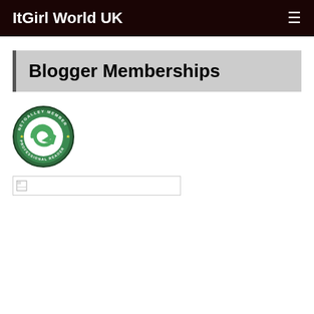ItGirl World UK
Blogger Memberships
[Figure (logo): NetGalley Member Professional Reader circular badge with green arrow logo]
[Figure (other): Broken/unloaded image placeholder, horizontal banner]